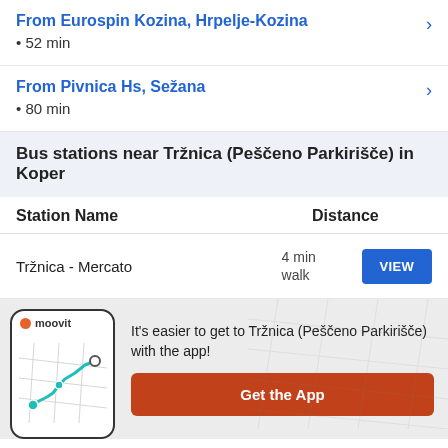From Eurospin Kozina, Hrpelje-Kozina
• 52 min
From Pivnica Hs, Sežana
• 80 min
Bus stations near Tržnica (Peščeno Parkirišče) in Koper
| Station Name | Distance |
| --- | --- |
| Tržnica - Mercato | 4 min walk |
It's easier to get to Tržnica (Peščeno Parkirišče) with the app!
Get the App